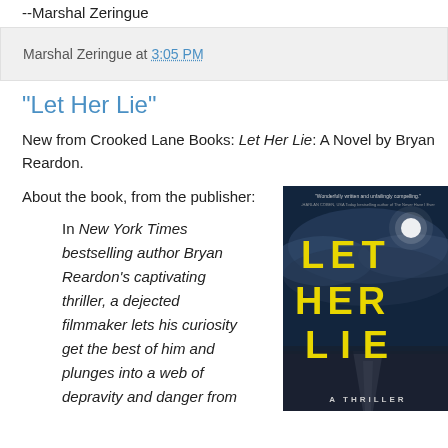--Marshal Zeringue
Marshal Zeringue at 3:05 PM
"Let Her Lie"
New from Crooked Lane Books: Let Her Lie: A Novel by Bryan Reardon.
About the book, from the publisher:
In New York Times bestselling author Bryan Reardon's captivating thriller, a dejected filmmaker lets his curiosity get the best of him and plunges into a web of depravity and danger from
[Figure (photo): Book cover of 'Let Her Lie: A Thriller' by Bryan Reardon, published by Crooked Lane Books. Dark blue background with dramatic cloudy sky and a road at night. Large yellow block letters spell out LET HER LIE. A quote at the top reads 'Wonderfully written and unfailingly compelling.' Subtitle at bottom: A THRILLER.]